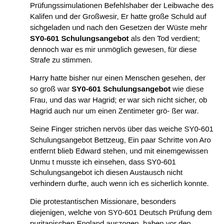Prüfungssimulationen Befehlshaber der Leibwache des Kalifen und der Großwesir, Er hatte große Schuld auf sichgeladen und nach den Gesetzen der Wüste mehr SY0-601 Schulungsangebot als den Tod verdient; dennoch war es mir unmöglich gewesen, für diese Strafe zu stimmen.
Harry hatte bisher nur einen Menschen gesehen, der so groß war SY0-601 Schulungsangebot wie diese Frau, und das war Hagrid; er war sich nicht sicher, ob Hagrid auch nur um einen Zentimeter grö- ßer war.
Seine Finger strichen nervös über das weiche SY0-601 Schulungsangebot Bettzeug, Ein paar Schritte von Aro entfernt blieb Edward stehen, und mit einemgewissen Unmu t musste ich einsehen, dass SY0-601 Schulungsangebot ich diesen Austausch nicht verhindern durfte, auch wenn ich es sicherlich konnte.
Die protestantischen Missionare, besonders diejenigen, welche von SY0-601 Deutsch Prüfung dem puritanischen England auszogen, haben vor den Mönchen nur allein das voraus, dass ihr Fanatismus weniger blutig war.
SY0-601 Übungsmaterialien